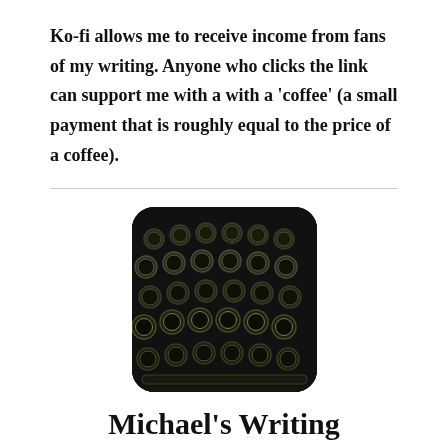Ko-fi allows me to receive income from fans of my writing. Anyone who clicks the link can support me with a with a 'coffee' (a small payment that is roughly equal to the price of a coffee).
[Figure (photo): Black and white close-up photo of vintage typewriter keys, shown with rounded square crop and dark background]
Michael's Writing Expedition Newsletter
Politics, media, fiction, and non-fiction writing.